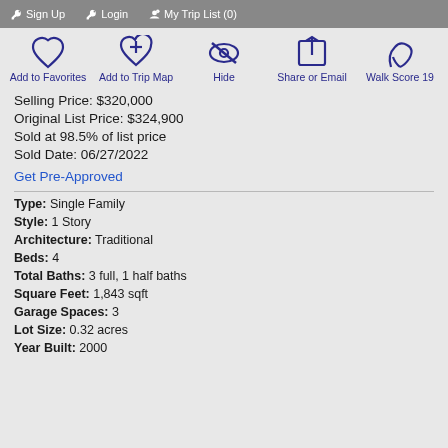Sign Up  Login  My Trip List (0)
[Figure (infographic): Icon row with Add to Favorites, Add to Trip Map, Hide, Share or Email, Walk Score 19]
Selling Price: $320,000
Original List Price: $324,900
Sold at 98.5% of list price
Sold Date: 06/27/2022
Get Pre-Approved
Type: Single Family
Style: 1 Story
Architecture: Traditional
Beds: 4
Total Baths: 3 full, 1 half baths
Square Feet: 1,843 sqft
Garage Spaces: 3
Lot Size: 0.32 acres
Year Built: 2000